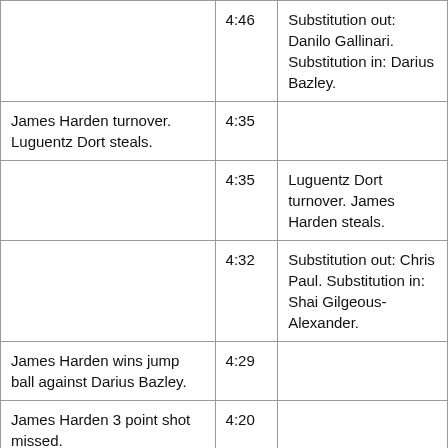| Home Team | Time | Away Team |
| --- | --- | --- |
|  | 4:46 | Substitution out: Danilo Gallinari. Substitution in: Darius Bazley. |
| James Harden turnover. Luguentz Dort steals. | 4:35 |  |
|  | 4:35 | Luguentz Dort turnover. James Harden steals. |
|  | 4:32 | Substitution out: Chris Paul. Substitution in: Shai Gilgeous-Alexander. |
| James Harden wins jump ball against Darius Bazley. | 4:29 |  |
| James Harden 3 point shot missed. | 4:20 |  |
| P.J. Tucker offensive rebound. | 4:19 |  |